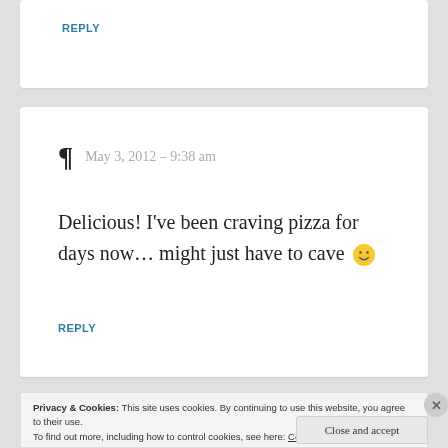REPLY
May 3, 2012 – 9:38 am
Delicious! I've been craving pizza for days now... might just have to cave 🙂
REPLY
Privacy & Cookies: This site uses cookies. By continuing to use this website, you agree to their use. To find out more, including how to control cookies, see here: Cookie Policy
Close and accept